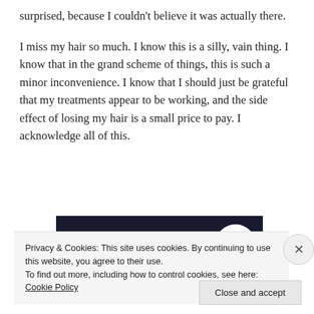surprised, because I couldn't believe it was actually there.
I miss my hair so much. I know this is a silly, vain thing. I know that in the grand scheme of things, this is such a minor inconvenience. I know that I should just be grateful that my treatments appear to be working, and the side effect of losing my hair is a small price to pay. I acknowledge all of this.
[Figure (screenshot): Dark navy banner ad with a pink 'Start a survey' button and a circular white logo reading 'CROWD SIGNAL']
Privacy & Cookies: This site uses cookies. By continuing to use this website, you agree to their use.
To find out more, including how to control cookies, see here: Cookie Policy
Close and accept